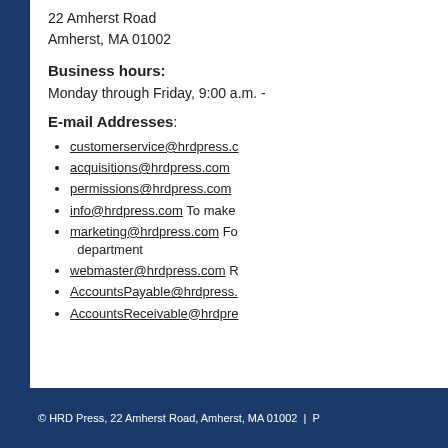22 Amherst Road
Amherst, MA 01002
Business hours:
Monday through Friday, 9:00 a.m. -
E-mail Addresses:
customerservice@hrdpress.c
acquisitions@hrdpress.com
permissions@hrdpress.com
info@hrdpress.com To make
marketing@hrdpress.com Fo department
webmaster@hrdpress.com R
AccountsPayable@hrdpress.
AccountsReceivable@hrdpre
© HRD Press, 22 Amherst Road, Amherst, MA 01002  |  P